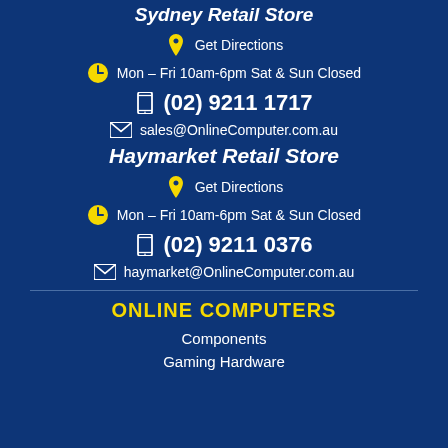Sydney Retail Store
Get Directions
Mon – Fri 10am-6pm Sat & Sun Closed
(02) 9211 1717
sales@OnlineComputer.com.au
Haymarket Retail Store
Get Directions
Mon – Fri 10am-6pm Sat & Sun Closed
(02) 9211 0376
haymarket@OnlineComputer.com.au
ONLINE COMPUTERS
Components
Gaming Hardware